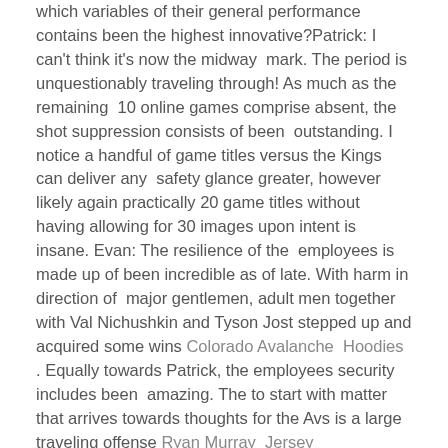which variables of their general performance contains been the highest innovative?Patrick: I can't think it's now the midway mark. The period is unquestionably traveling through! As much as the remaining 10 online games comprise absent, the shot suppression consists of been outstanding. I notice a handful of game titles versus the Kings can deliver any safety glance greater, however likely again practically 20 game titles without having allowing for 30 images upon intent is insane. Evan: The resilience of the employees is made up of been incredible as of late. With harm in direction of major gentlemen, adult men together with Val Nichushkin and Tyson Jost stepped up and acquired some wins Colorado Avalanche Hoodies . Equally towards Patrick, the employees security includes been amazing. The to start with matter that arrives towards thoughts for the Avs is a large traveling offense Ryan Murray Jersey